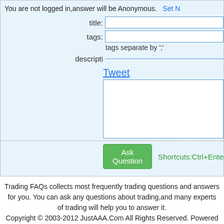You are not logged in,answer will be Anonymous.  Set N
title:
tags:
tags separate by ';'
descripti
Tweet
Ask Question   Shortcuts:Ctrl+Enter
Trading FAQs collects most frequently trading questions and answers for you. You can ask any questions about trading,and many experts of trading will help you to answer it.
Copyright © 2003-2012 JustAAA.Com All Rights Reserved. Powered by Answers . User contributions licensed under cc-wiki.